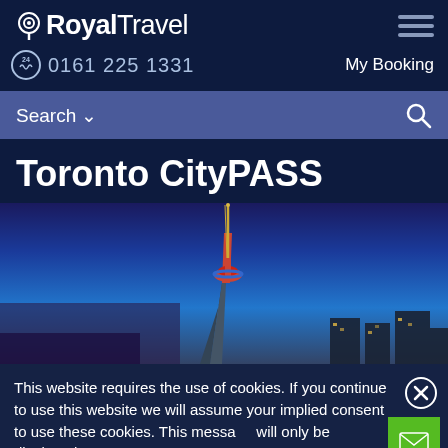Royal Travel — 0161 225 1331 — My Booking — Search
Toronto CityPASS
[Figure (photo): Photo of CN Tower in Toronto at twilight/dusk with city skyline in background, blue sky gradient]
This website requires the use of cookies. If you continue to use this website we will assume your implied consent to use these cookies. This message will only be displayed once.